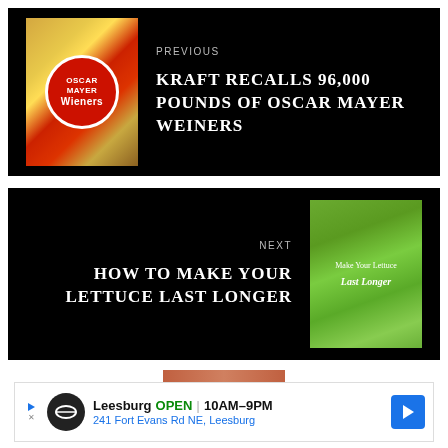[Figure (photo): Black navigation block with hot dog wieners product image on left and text on right saying PREVIOUS - KRAFT RECALLS 96,000 POUNDS OF OSCAR MAYER WEINERS]
[Figure (photo): Black navigation block with text on left saying NEXT - HOW TO MAKE YOUR LETTUCE LAST LONGER and lettuce image on right]
[Figure (other): Advertisement banner: Leesburg OPEN 10AM-9PM, 241 Fort Evans Rd NE, Leesburg with navigation arrow icon]